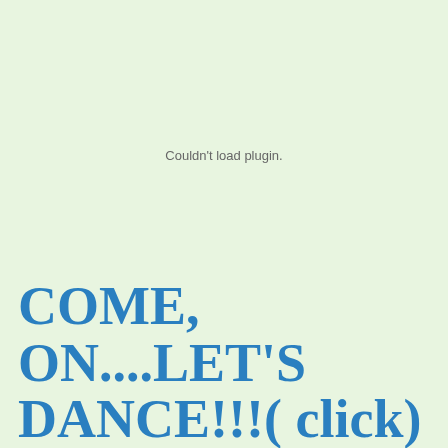Couldn't load plugin.
COME, ON....LET'S DANCE!!!( click)